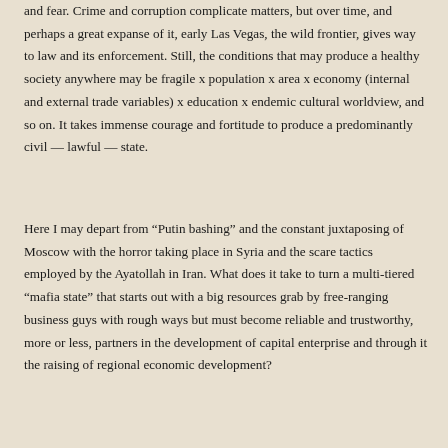and fear.  Crime and corruption complicate matters, but over time, and perhaps a great expanse of it, early Las Vegas, the wild frontier, gives way to law and its enforcement.  Still, the conditions that may produce a healthy society anywhere may be fragile x population x area x economy (internal and external trade variables) x education x endemic cultural worldview, and so on.  It takes immense courage and fortitude to produce a predominantly civil — lawful — state.
Here I may depart from “Putin bashing” and the constant juxtaposing of Moscow with the horror taking place in Syria and the scare tactics employed by the Ayatollah in Iran.  What does it take to turn a multi-tiered “mafia state” that starts out with a big resources grab by free-ranging business guys with rough ways but must become reliable and trustworthy, more or less, partners in the development of capital enterprise and through it the raising of regional economic development?